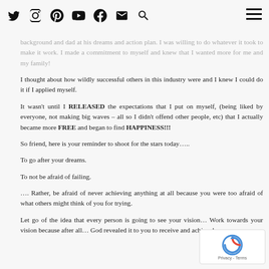[social nav icons: Twitter, Instagram, Pinterest, YouTube, Facebook, Email, Search] [hamburger menu]
background and dad at his dreams and action plan. I was willing to do whatever it took to make it work. I made a commitment to myself and knew that I wanted more for me and my family!
I thought about how wildly successful others in this industry were and I knew I could do it if I applied myself.
It wasn't until I RELEASED the expectations that I put on myself, (being liked by everyone, not making big waves – all so I didn't offend other people, etc) that I actually became more FREE and began to find HAPPINESS!!!
So friend, here is your reminder to shoot for the stars today…..
To go after your dreams.
To not be afraid of failing.
…. Rather, be afraid of never achieving anything at all because you were too afraid of what others might think of you for trying.
Let go of the idea that every person is going to see your vision… Work towards your vision because after all… God revealed it to you to receive and achieve!